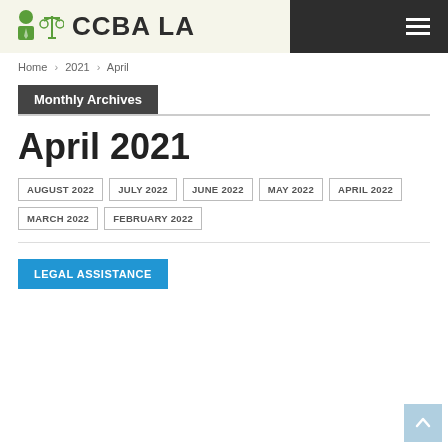CCBA LA
Home > 2021 > April
Monthly Archives
April 2021
AUGUST 2022
JULY 2022
JUNE 2022
MAY 2022
APRIL 2022
MARCH 2022
FEBRUARY 2022
LEGAL ASSISTANCE